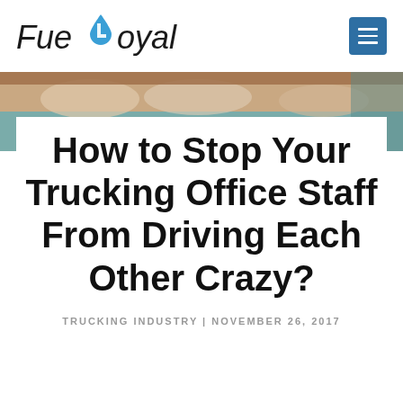FueLoyaL
[Figure (illustration): Decorative hero banner image with muted brown, teal, and beige tones, partially visible behind a white content card.]
How to Stop Your Trucking Office Staff From Driving Each Other Crazy?
TRUCKING INDUSTRY | NOVEMBER 26, 2017